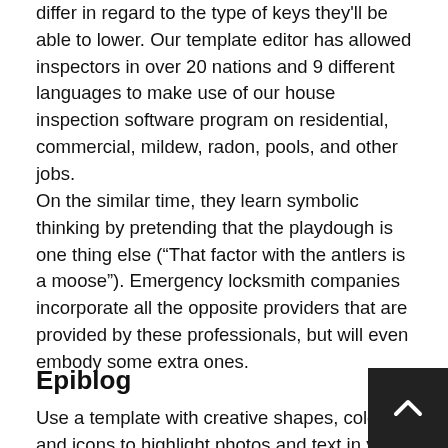differ in regard to the type of keys they'll be able to lower. Our template editor has allowed inspectors in over 20 nations and 9 different languages to make use of our house inspection software program on residential, commercial, mildew, radon, pools, and other jobs.
On the similar time, they learn symbolic thinking by pretending that the playdough is one thing else (“That factor with the antlers is a moose”). Emergency locksmith companies incorporate all the opposite providers that are provided by these professionals, but will even embody some extra ones.
Epiblog
Use a template with creative shapes, colors, and icons to highlight photos and text in your flyer designs. A fun pantry storage concept proven right here is the plast for cans. Half-fold, also called bi-fold flyers or brochures